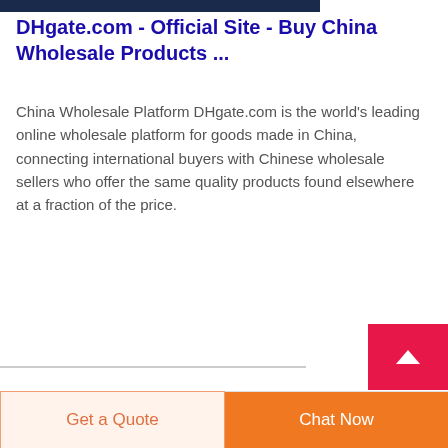[Figure (photo): Dark navy blue image at the top of the page, partially cropped]
DHgate.com - Official Site - Buy China Wholesale Products ...
China Wholesale Platform DHgate.com is the world's leading online wholesale platform for goods made in China, connecting international buyers with Chinese wholesale sellers who offer the same quality products found elsewhere at a fraction of the price.
Get a Quote
Chat Now